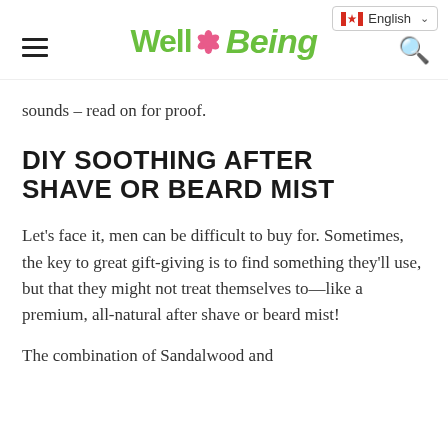Well Being — English (Canada)
sounds – read on for proof.
DIY SOOTHING AFTER SHAVE OR BEARD MIST
Let's face it, men can be difficult to buy for. Sometimes, the key to great gift-giving is to find something they'll use, but that they might not treat themselves to—like a premium, all-natural after shave or beard mist!
The combination of Sandalwood and